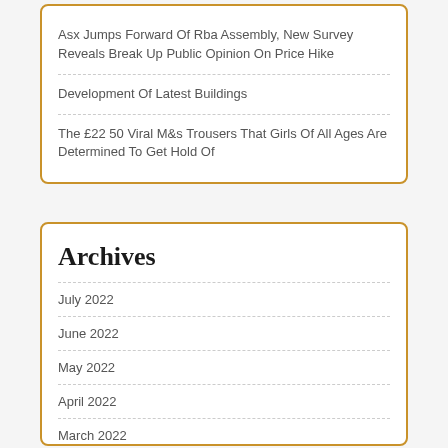Asx Jumps Forward Of Rba Assembly, New Survey Reveals Break Up Public Opinion On Price Hike
Development Of Latest Buildings
The £22 50 Viral M&s Trousers That Girls Of All Ages Are Determined To Get Hold Of
Archives
July 2022
June 2022
May 2022
April 2022
March 2022